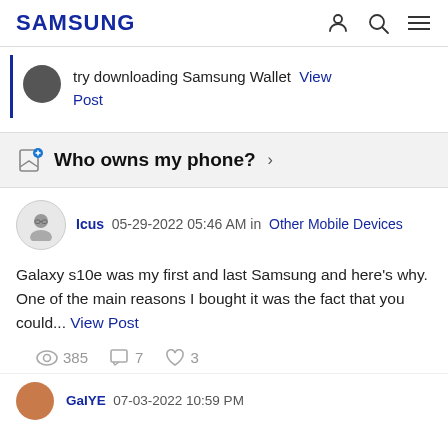SAMSUNG
try downloading Samsung Wallet  View Post
Who owns my phone?
Icus  05-29-2022  05:46 AM in  Other Mobile Devices
Galaxy s10e was my first and last Samsung and here's why. One of the main reasons I bought it was the fact that you could...  View Post
385   7   3
GaIYE  07-03-2022 10:59 PM